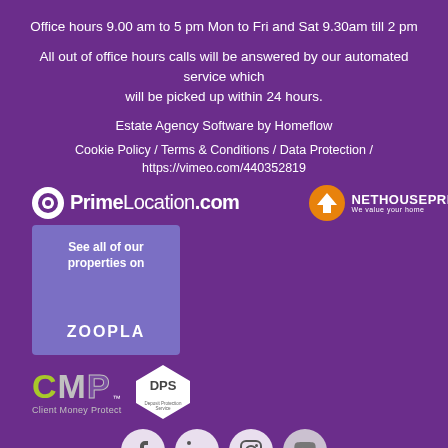Office hours 9.00 am to 5 pm Mon to Fri and Sat 9.30am till 2 pm
All out of office hours calls will be answered by our automated service which will be picked up within 24 hours.
Estate Agency Software by Homeflow
Cookie Policy / Terms & Conditions / Data Protection /
https://vimeo.com/440352819
[Figure (logo): PrimeLocation.com logo and NetHouseprices logo side by side on purple background]
[Figure (logo): Zoopla purple tile with text 'See all of our properties on ZOOPLA']
[Figure (logo): CMP Client Money Protect logo and DPS (Deposit Protection Service) badge]
[Figure (logo): Social media icons: Facebook, LinkedIn, Instagram, YouTube]